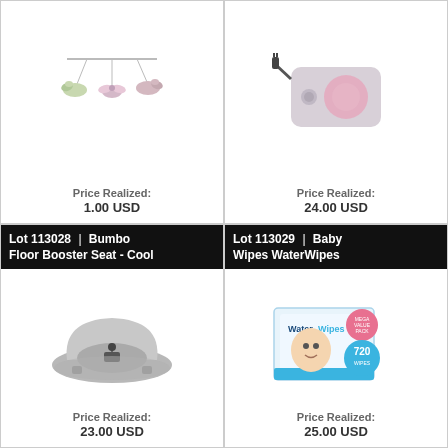[Figure (photo): Baby mobile with hanging birds and butterflies]
Price Realized:
1.00 USD
[Figure (photo): Pink and gray baby device/monitor with power cord]
Price Realized:
24.00 USD
Lot 113028 | Bumbo Floor Booster Seat - Cool
[Figure (photo): Gray Bumbo floor booster seat with harness buckle]
Price Realized:
23.00 USD
Lot 113029 | Baby Wipes WaterWipes
[Figure (photo): WaterWipes Mega Value Pack 720 wipes box]
Price Realized:
25.00 USD